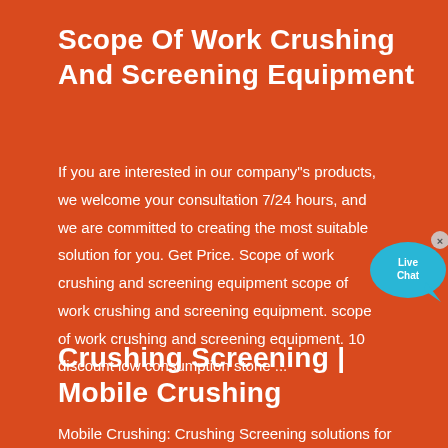Scope Of Work Crushing And Screening Equipment
If you are interested in our company"s products, we welcome your consultation 7/24 hours, and we are committed to creating the most suitable solution for you. Get Price. Scope of work crushing and screening equipment scope of work crushing and screening equipment. scope of work crushing and screening equipment. 10 discount low consumption stone ...
[Figure (illustration): Live Chat speech bubble widget in cyan/blue color with 'Live Chat' text and a close (x) button]
Crushing Screening | Mobile Crushing
Mobile Crushing: Crushing Screening solutions for all